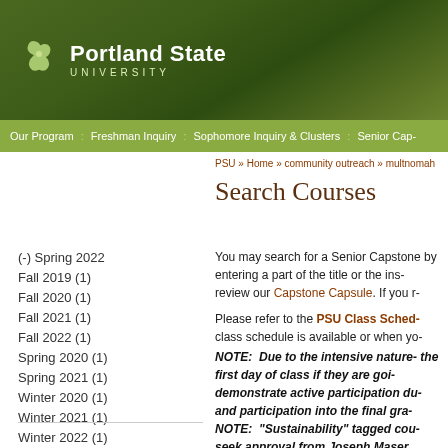Portland State University
Our Program : Freshman Inquiry : Sophomore Inquiry & Clusters : Senior Cap-
PSU » Home » community outreach » multnomah
Search Courses
(-) Spring 2022
Fall 2019 (1)
Fall 2020 (1)
Fall 2021 (1)
Fall 2022 (1)
Spring 2020 (1)
Spring 2021 (1)
Winter 2020 (1)
Winter 2021 (1)
Winter 2022 (1)
You may search for a Senior Capstone by entering a part of the title or the ins- review our Capstone Capsule. If you r-
Please refer to the PSU Class Sched- class schedule is available or when yo-
NOTE: Due to the intensive nature- the first day of class if they are goi- demonstrate active participation du- and participation into the final gra-
NOTE: "Sustainability" tagged cou- seek approval from Joseph Maser,